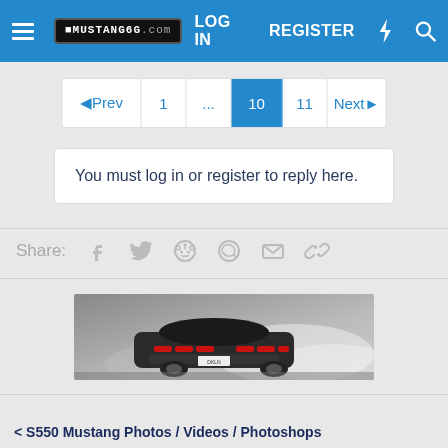MUSTANG6G.COM  LOG IN  REGISTER
◄Prev  1  ...  10  11  Next►
You must log in or register to reply here.
Share:
[Figure (photo): Rear view of a dark Ford Mustang GT driving in smoky/misty conditions]
< S550 Mustang Photos / Videos / Photoshops